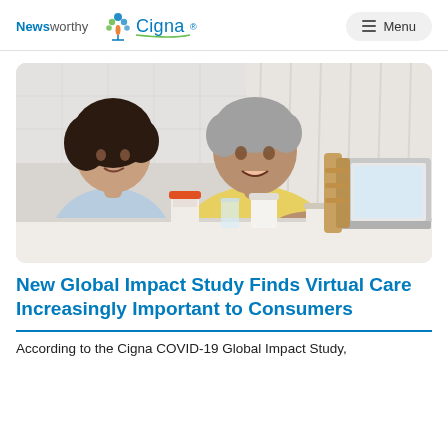Newsworthy | Cigna | Menu
[Figure (photo): An elderly Asian couple sitting at a table looking at a laptop, with medication bottles in front of them. The man is in a yellow shirt gesturing with his hands, the woman is in a light blue top.]
New Global Impact Study Finds Virtual Care Increasingly Important to Consumers
According to the Cigna COVID-19 Global Impact Study,